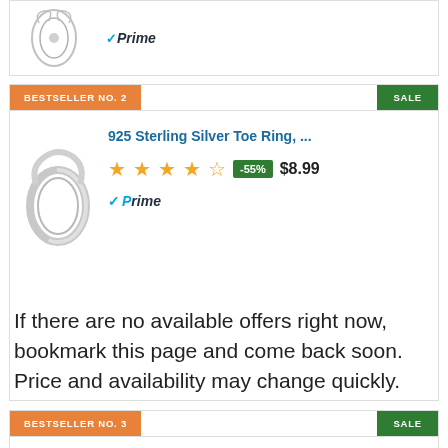[Figure (other): Partial product card top with Prime logo visible]
BESTSELLER NO. 2
SALE
[Figure (photo): 925 Sterling Silver Toe Ring product image]
925 Sterling Silver Toe Ring, ...
4.5 stars, -55%, $8.99, Prime
BESTSELLER NO. 3
SALE
[Figure (photo): Ear Cuffs 925 Sterling Silver product image]
Ear Cuffs 925 Sterling Silver E...
4.5 stars, -11%, $22.98, Prime
If there are no available offers right now, bookmark this page and come back soon. Price and availability may change quickly.